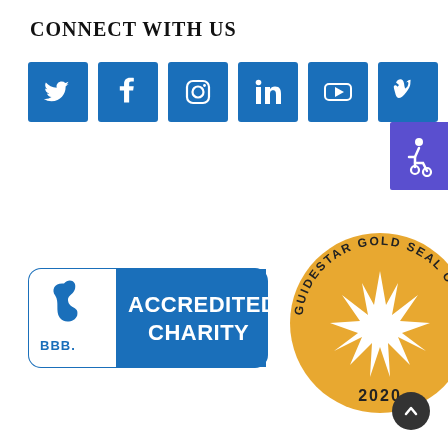CONNECT WITH US
[Figure (infographic): Six social media icons (Twitter, Facebook, Instagram, LinkedIn, YouTube, Vimeo) as blue square buttons in a horizontal row]
[Figure (infographic): Accessibility icon (wheelchair symbol) on a purple/indigo square button at the right edge]
[Figure (logo): BBB Accredited Charity logo with blue and white design]
[Figure (logo): GuideStar Gold Seal of Transparency 2020 circular badge in gold/amber color]